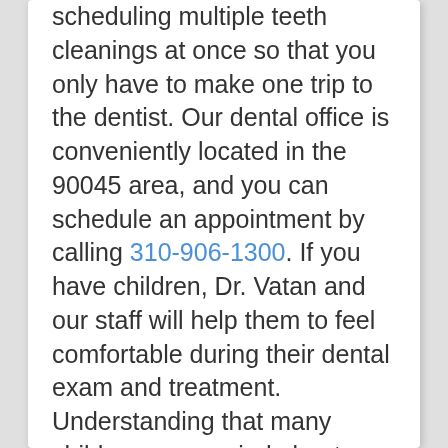scheduling multiple teeth cleanings at once so that you only have to make one trip to the dentist. Our dental office is conveniently located in the 90045 area, and you can schedule an appointment by calling 310-906-1300. If you have children, Dr. Vatan and our staff will help them to feel comfortable during their dental exam and treatment. Understanding that many children are worried about something new, we take the time to get to know your children and engage them in the process so that they can feel comfortable and excited about visiting our Los Angeles dentist office. If you have any particular concerns, let us know, and we will work